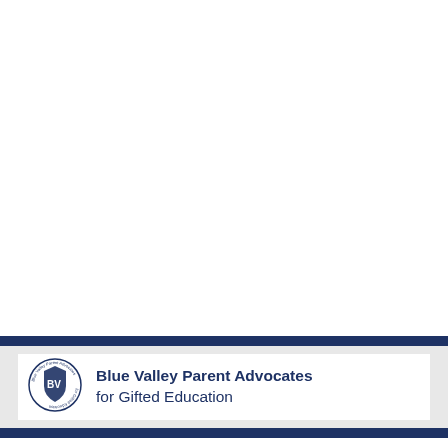[Figure (logo): Blue Valley Parent Advocates for Gifted Education logo with circular emblem showing BV initials and organization name, accompanied by text 'Blue Valley Parent Advocates for Gifted Education']